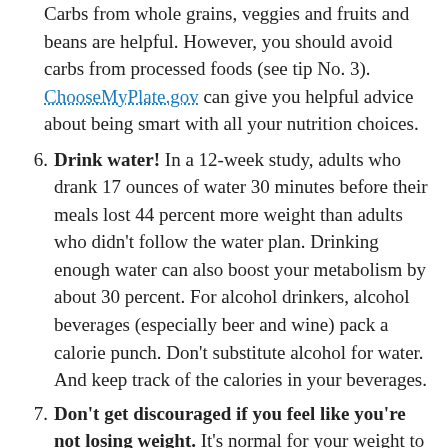Carbs from whole grains, veggies and fruits and beans are helpful. However, you should avoid carbs from processed foods (see tip No. 3). ChooseMyPlate.gov can give you helpful advice about being smart with all your nutrition choices.
6. Drink water! In a 12-week study, adults who drank 17 ounces of water 30 minutes before their meals lost 44 percent more weight than adults who didn't follow the water plan. Drinking enough water can also boost your metabolism by about 30 percent. For alcohol drinkers, alcohol beverages (especially beer and wine) pack a calorie punch. Don't substitute alcohol for water. And keep track of the calories in your beverages.
7. Don't get discouraged if you feel like you're not losing weight. It's normal for your weight to plateau for days or even a week or two. It might even go up. If you start your fitness activities at the same time as your weight loss effort, the muscles you're building from your exercise could briefly offset your weight loss. Keep at